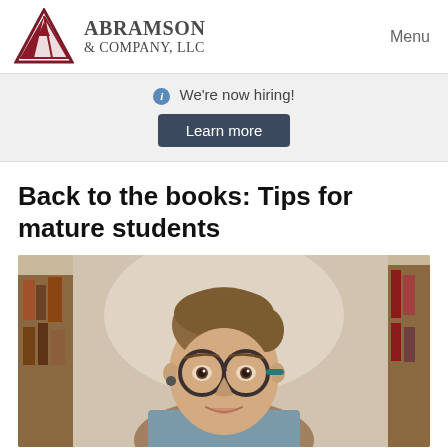Abramson & Company, LLC | Menu
We're now hiring! Learn more
Back to the books: Tips for mature students
[Figure (photo): A young woman with glasses smiling in a library or office setting with bookshelves in the background]